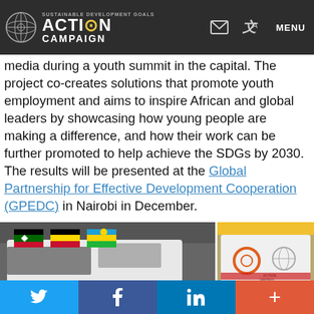SUSTAINABLE DEVELOPMENT GOALS ACTION CAMPAIGN | MENU
media during a youth summit in the capital. The project co-creates solutions that promote youth employment and aims to inspire African and global leaders by showcasing how young people are making a difference, and how their work can be further promoted to help achieve the SDGs by 2030. The results will be presented at the Global Partnership for Effective Development Cooperation (GPEDC) in Nairobi in December.
[Figure (photo): Two side-by-side photos: left photo shows a vehicle/van with flags of Kenya, Uganda, and Rwanda; right photo shows back of a white vehicle with Action Campaign logo.]
Twitter | Facebook | LinkedIn | +